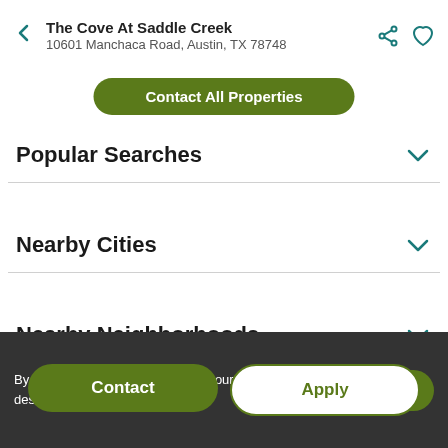The Cove At Saddle Creek
10601 Manchaca Road, Austin, TX 78748
Contact All Properties
Popular Searches
Nearby Cities
Nearby Neighborhoods
Contact
Apply
Popular Zip Codes
By using this website you agree to our use of cookies as described in our cookie policy.